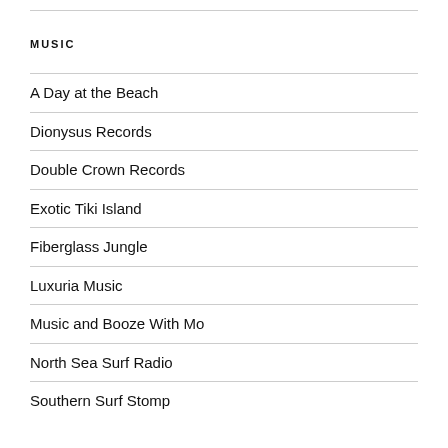MUSIC
A Day at the Beach
Dionysus Records
Double Crown Records
Exotic Tiki Island
Fiberglass Jungle
Luxuria Music
Music and Booze With Mo
North Sea Surf Radio
Southern Surf Stomp